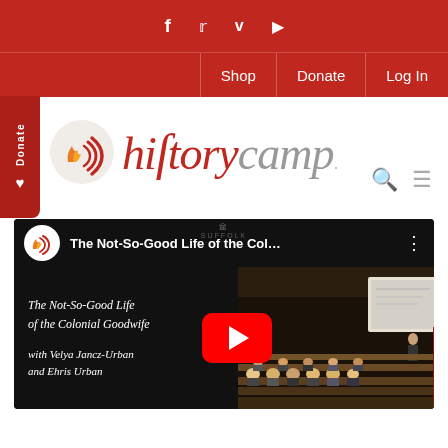Social media icons: Facebook, Twitter, Vimeo, YouTube
Shop | Donate | Log In
[Figure (logo): History Camp logo with stylized flame/radio wave icon and red italic 'history' text followed by grey 'camp' text]
[Figure (screenshot): YouTube video thumbnail for 'The Not-So-Good Life of the Colonial Goodwife with Velya Jancz-Urban and Ehris Urban' showing a lecture hall audience and presenter]